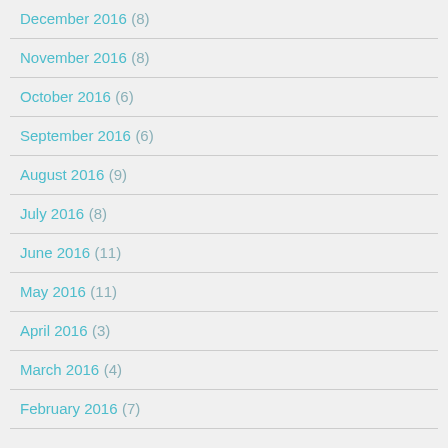December 2016 (8)
November 2016 (8)
October 2016 (6)
September 2016 (6)
August 2016 (9)
July 2016 (8)
June 2016 (11)
May 2016 (11)
April 2016 (3)
March 2016 (4)
February 2016 (7)